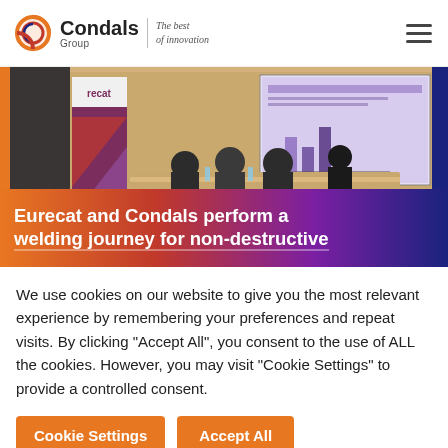Condals Group | The best of innovation
[Figure (photo): Conference or seminar photo: panel of speakers at a table with a projection screen showing a presentation, audience seated in foreground, 'recat' banner visible on left side.]
Eurecat and Condals perform a welding journey for non-destructive
We use cookies on our website to give you the most relevant experience by remembering your preferences and repeat visits. By clicking "Accept All", you consent to the use of ALL the cookies. However, you may visit "Cookie Settings" to provide a controlled consent.
Cookie Settings
Accept All